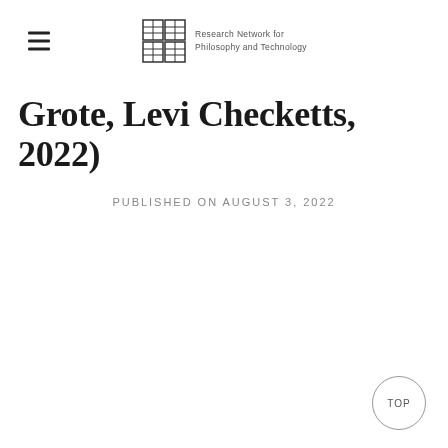Research Network for Philosophy and Technology
Grote, Levi Checketts, 2022)
PUBLISHED ON AUGUST 3, 2022